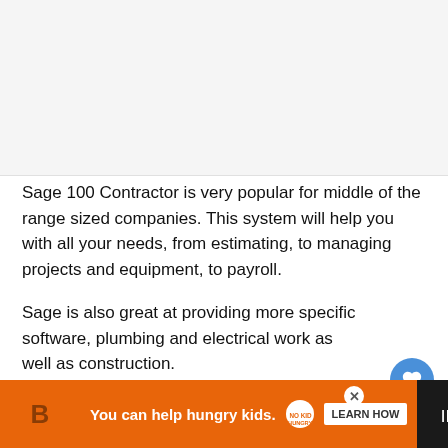[Figure (other): Gray placeholder image area at top of page]
Sage 100 Contractor is very popular for middle of the range sized companies. This system will help you with all your needs, from estimating, to managing projects and equipment, to payroll.
Sage is also great at providing more specific software, plumbing and electrical work as well as construction.
[Figure (other): Advertisement banner at bottom: orange background with 'You can help hungry kids.' text, No Kid Hungry logo, and LEARN HOW button]